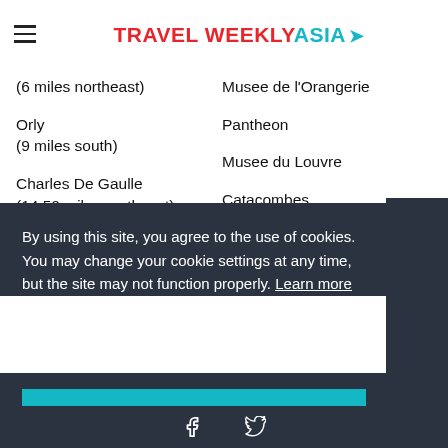TRAVEL WEEKLY ASIA
(6 miles northeast)
Musee de l'Orangerie
Orly
(9 miles south)
Pantheon
Charles De Gaulle
(14.50 miles northeast)
Musee du Louvre
Catacombes
... (Bou...bourg)
By using this site, you agree to the use of cookies. You may change your cookie settings at any time, but the site may not function properly. Learn more
OK